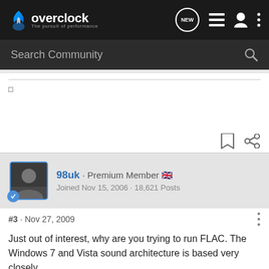overclock · The pursuit of performance
Search Community
□
[Figure (other): Bookmark and share icons]
98uk · Premium Member 🇬🇧
Joined Nov 15, 2006 · 18,621 Posts
#3 · Nov 27, 2009
​Just out of interest, why are you trying to run FLAC. The Windows 7 and Vista sound architecture is based very closely